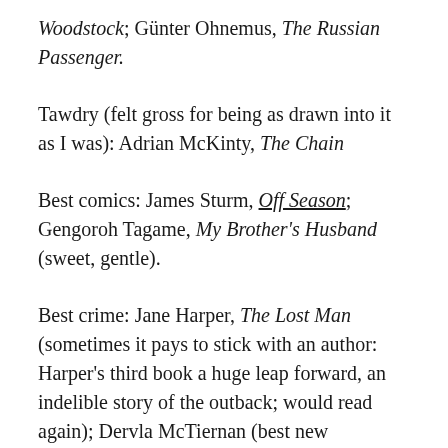Woodstock; Günter Ohnemus, The Russian Passenger.
Tawdry (felt gross for being as drawn into it as I was): Adrian McKinty, The Chain
Best comics: James Sturm, Off Season; Gengoroh Tagame, My Brother's Husband (sweet, gentle).
Best crime: Jane Harper, The Lost Man (sometimes it pays to stick with an author: Harper's third book a huge leap forward, an indelible story of the outback; would read again); Dervla McTiernan (best new procedurals I read this year); Laura Lippman, The